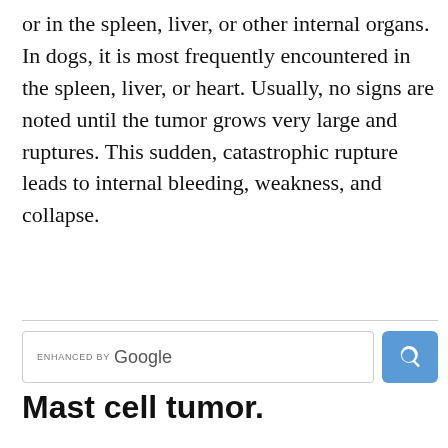or in the spleen, liver, or other internal organs. In dogs, it is most frequently encountered in the spleen, liver, or heart. Usually, no signs are noted until the tumor grows very large and ruptures. This sudden, catastrophic rupture leads to internal bleeding, weakness, and collapse.
[Figure (other): Google enhanced search bar with search button]
Mast cell tumor.